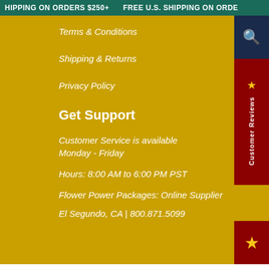FREE U.S. SHIPPING ON ORDERS $250+   FREE U.S. SHIPPING ON ORDE
Terms & Conditions
Shipping & Returns
Privacy Policy
Get Support
Customer Service is available
Monday - Friday
Hours: 8:00 AM to 6:00 PM PST
Flower Power Packages: Online Supplier
El Segundo, CA | 800.871.5099